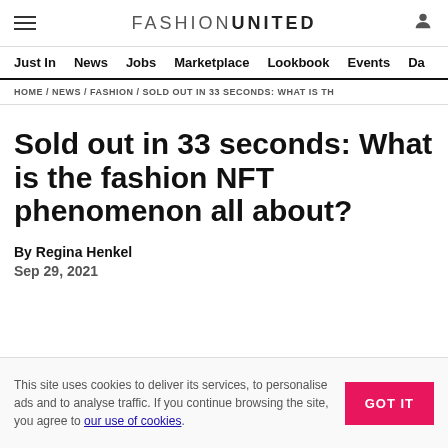FASHION UNITED
Just In  News  Jobs  Marketplace  Lookbook  Events  Da
HOME / NEWS / FASHION / SOLD OUT IN 33 SECONDS: WHAT IS TH
Sold out in 33 seconds: What is the fashion NFT phenomenon all about?
By Regina Henkel
Sep 29, 2021
This site uses cookies to deliver its services, to personalise ads and to analyse traffic. If you continue browsing the site, you agree to our use of cookies.